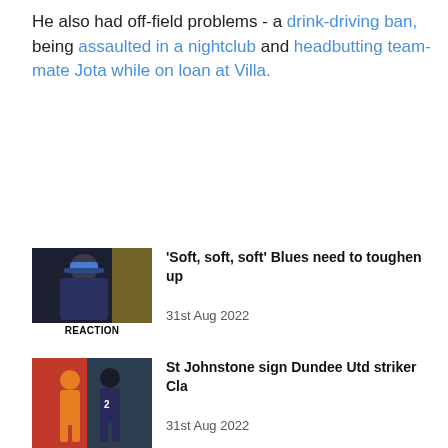He also had off-field problems - a drink-driving ban, being assaulted in a nightclub and headbutting team-mate Jota while on loan at Villa.
[Figure (photo): Thumbnail of a football manager in a blue cap with a yellow/black background, with a REACTION label overlay]
'Soft, soft, soft' Blues need to toughen up
31st Aug 2022
[Figure (photo): Thumbnail of football action with players from two teams]
St Johnstone sign Dundee Utd striker Cla
31st Aug 2022
[Figure (photo): Thumbnail of a man in a black cap against a green background]
Kompany not getting carried away by Bur
31st Aug 2022